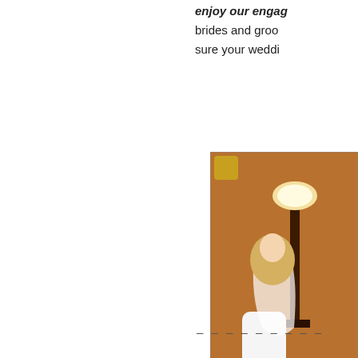enjoy our engag... brides and groo... sure your weddi...
[Figure (photo): A bride in a white wedding dress with veil standing in a wooden-floored room, with a lamp on a dark wooden stand in the background. Photo credit: Ruth Ryan Photography.]
– – – – – – – – –